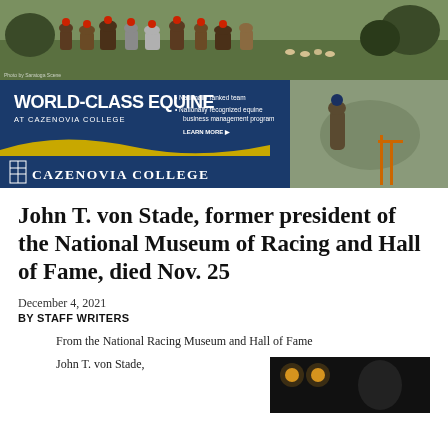[Figure (photo): Hunt scene with riders on horseback in red jackets with hounds, outdoor field setting]
[Figure (infographic): World-Class Equine at Cazenovia College advertisement banner with horse jumping image and bullet points: Nationally ranked team, Nationally recognized equine business management program. LEARN MORE link. Cazenovia College logo.]
John T. von Stade, former president of the National Museum of Racing and Hall of Fame, died Nov. 25
December 4, 2021
BY STAFF WRITERS
From the National Racing Museum and Hall of Fame
John T. von Stade,
[Figure (photo): Dark background photo with two orange/amber light dots visible, partial portrait photo]